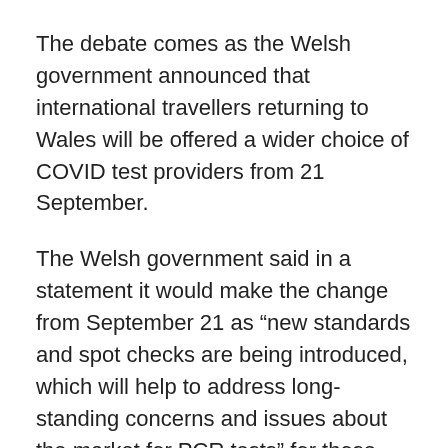The debate comes as the Welsh government announced that international travellers returning to Wales will be offered a wider choice of COVID test providers from 21 September.
The Welsh government said in a statement it would make the change from September 21 as “new standards and spot checks are being introduced, which will help to address long-standing concerns and issues about the market for PCR tests” for those returning to the UK.
Meanwhile, on the use of vaccine passports, Mr Javid said the government would not introduce the measure unless there is “no alternative”.
“I think if we went down the road of vaccine passports or vaccine certification as it is sometimes called, that is a big